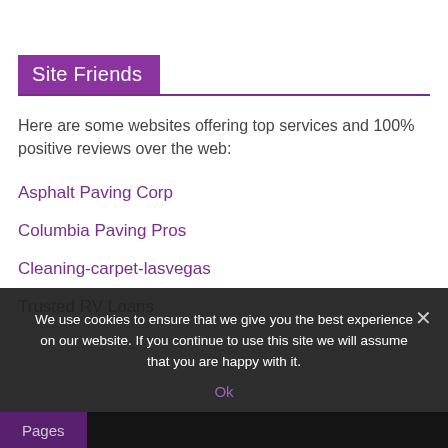Site Friends
Here are some websites offering top services and 100% positive reviews over the web:
Asphalt Paving Corp
Columbia Paving Pros
Cleaning-carpet-lasvegas
Trusted RV Loans
We use cookies to ensure that we give you the best experience on our website. If you continue to use this site we will assume that you are happy with it.
Ok
Pages